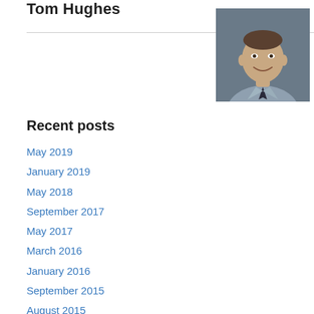Tom Hughes
[Figure (photo): Headshot photo of a man in a grey shirt and dark tie, smiling, with a dark background]
Recent posts
May 2019
January 2019
May 2018
September 2017
May 2017
March 2016
January 2016
September 2015
August 2015
February 2015
December 2014